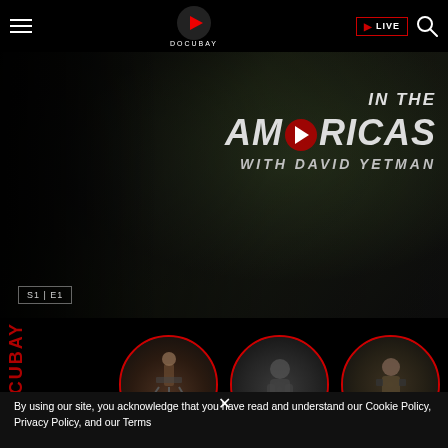DOCUBAY — navigation header with hamburger menu, logo, LIVE button, search icon
[Figure (screenshot): Hero banner showing 'IN THE AMERICAS WITH DAVID YETMAN' documentary title with play button overlay, dark scenic background, S1|E1 badge in lower left]
[Figure (photo): Three circular thumbnail images with red borders showing documentary scenes: person with equipment outdoors, person against sky, person with camera/binoculars]
DOCUBAY (vertical sidebar text)
By using our site, you acknowledge that you have read and understand our Cookie Policy, Privacy Policy, and our Terms